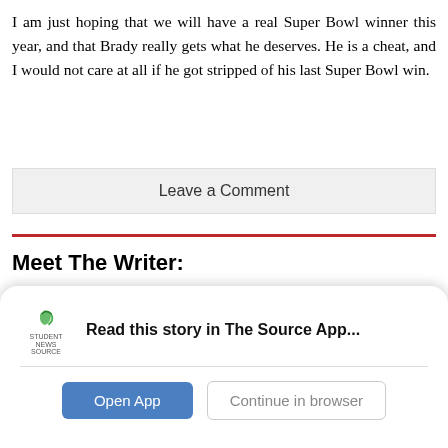I am just hoping that we will have a real Super Bowl winner this year, and that Brady really gets what he deserves. He is a cheat, and I would not care at all if he got stripped of his last Super Bowl win.
Leave a Comment
Meet The Writer:
[Figure (photo): Outdoor photo with trees and sky]
Nick Meacham, Photo Editor
[Figure (infographic): App banner overlay: Student News Source logo with text 'Read this story in The Source App...' and buttons 'Open App' and 'Continue in browser']